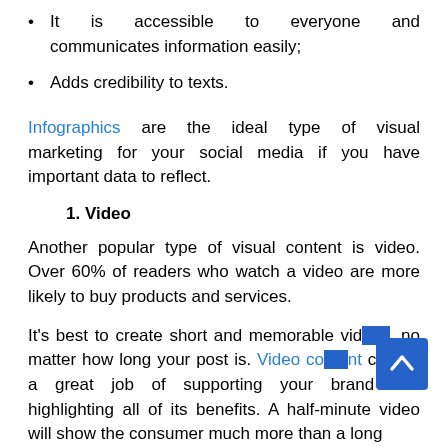It is accessible to everyone and communicates information easily;
Adds credibility to texts.
Infographics are the ideal type of visual marketing for your social media if you have important data to reflect.
1. Video
Another popular type of visual content is video. Over 60% of readers who watch a video are more likely to buy products and services.
It's best to create short and memorable videos, no matter how long your post is. Video content can do a great job of supporting your brand and highlighting all of its benefits. A half-minute video will show the consumer much more than a long article.